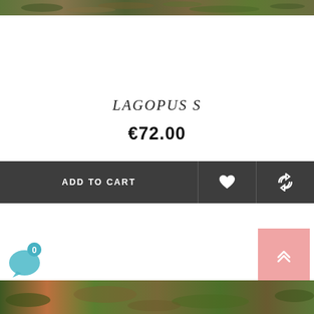[Figure (photo): Top portion of an outdoor nature/ground photo showing leaves and soil, cropped at the top edge of the page]
LAGOPUS S
€72.00
ADD TO CART
[Figure (photo): Bottom portion of an outdoor nature photo showing plants, partially visible at bottom edge of page]
[Figure (other): Back to top button, salmon/pink colored square with upward double chevron arrow]
[Figure (other): Chat bubble icon, teal/cyan circular with notification badge showing 0]